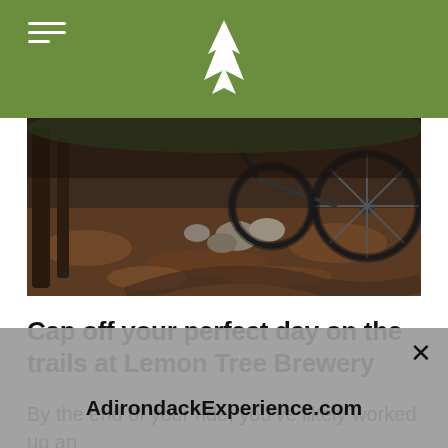Adirondack Experience website header with hamburger menu and mountain logo
[Figure (photo): Mountain biker riding on a dirt trail through a rocky, leaf-covered forest floor]
Cap off your perfect day on the trails at Lemon Tree Brewery
By the end of your ride, you’ve likely worked up an
AdirondackExperience.com